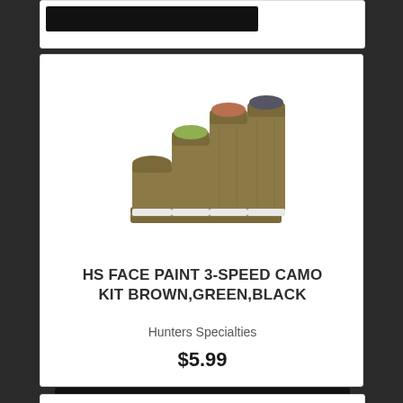[Figure (photo): Three camo face paint sticks in brown, green, and black colors mounted in a tan/olive colored holder, with caps partially removed showing colored tips]
HS FACE PAINT 3-SPEED CAMO KIT BROWN,GREEN,BLACK
Hunters Specialties
$5.99
Add To Cart